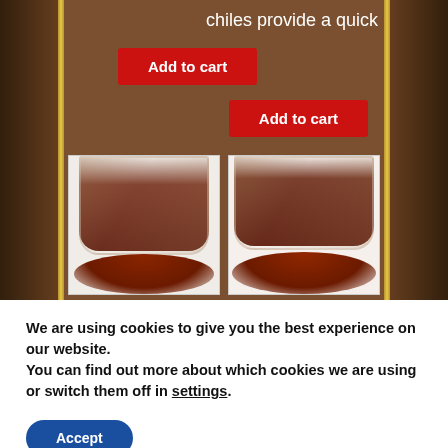chiles provide a quick
[Figure (screenshot): Two red 'Add to cart' buttons on a wooden brown background]
[Figure (photo): Two bags of red chili powder with powder spilled in front, displayed side by side on a wooden background with decorative gold border]
We are using cookies to give you the best experience on our website.
You can find out more about which cookies we are using or switch them off in settings.
[Figure (screenshot): Blue Accept button for cookie consent]